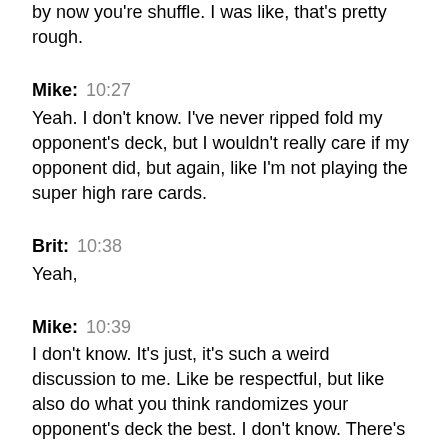by now you're shuffle. I was like, that's pretty rough.
Mike:  10:27
Yeah. I don't know. I've never ripped fold my opponent's deck, but I wouldn't really care if my opponent did, but again, like I'm not playing the super high rare cards.
Brit:  10:38
Yeah,
Mike:  10:39
I don't know. It's just, it's such a weird discussion to me. Like be respectful, but like also do what you think randomizes your opponent's deck the best. I don't know. There's a little bit of both.
Brit:  10:55
it was a strange sort of at least, I mean, I guess